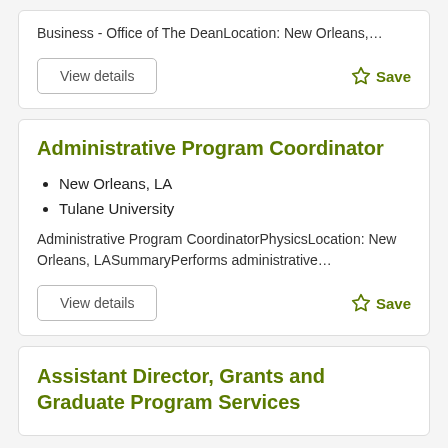Business - Office of The DeanLocation: New Orleans,...
View details
Save
Administrative Program Coordinator
New Orleans, LA
Tulane University
Administrative Program CoordinatorPhysicsLocation: New Orleans, LASummaryPerforms administrative...
View details
Save
Assistant Director, Grants and Graduate Program Services